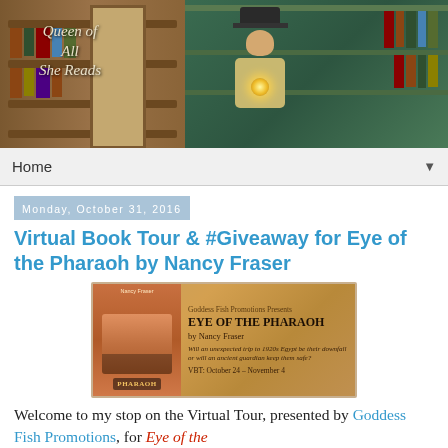[Figure (illustration): Blog header banner for 'Queen of All She Reads' showing a library/bookcase background and a steampunk-styled woman reading a book with a glowing orb]
Home ▼
Monday, October 31, 2016
Virtual Book Tour & #Giveaway for Eye of the Pharaoh by Nancy Fraser
[Figure (illustration): Goddess Fish Promotions book tour banner for 'Eye of the Pharaoh' by Nancy Fraser. VBT: October 24 – November 4. Tagline: Will an unexpected trip to 1920s Egypt be their downfall or will an ancient guardian keep them safe?]
Welcome to my stop on the Virtual Tour, presented by Goddess Fish Promotions, for Eye of the